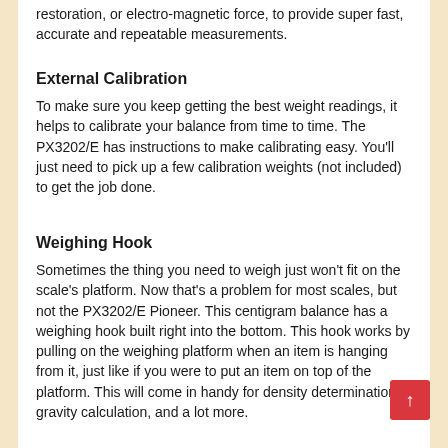restoration, or electro-magnetic force, to provide super fast, accurate and repeatable measurements.
External Calibration
To make sure you keep getting the best weight readings, it helps to calibrate your balance from time to time. The PX3202/E has instructions to make calibrating easy. You'll just need to pick up a few calibration weights (not included) to get the job done.
Weighing Hook
Sometimes the thing you need to weigh just won't fit on the scale's platform. Now that's a problem for most scales, but not the PX3202/E Pioneer. This centigram balance has a weighing hook built right into the bottom. This hook works by pulling on the weighing platform when an item is hanging from it, just like if you were to put an item on top of the platform. This will come in handy for density determination, gravity calculation, and a lot more.
Does This Thing Count?
You bet it does! All you need to do is weigh a sample amount of pieces, so the PX3202/E can know how much